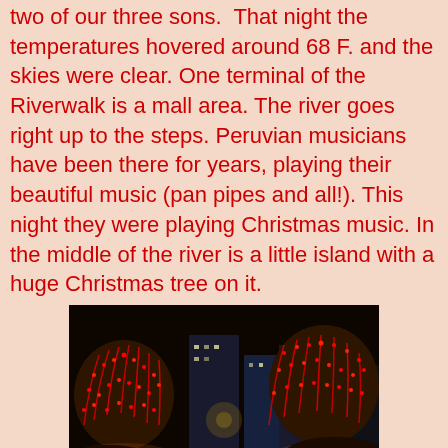two of our three sons.  That night the temperatures hovered around 68 F. and the skies were clear. One terminal of the Riverwalk is a mall area. The river goes right up to the steps. Peruvian musicians have been there for years, playing their beautiful music (pan pipes and all!). This night they were playing Christmas music. In the middle of the river is a little island with a huge Christmas tree on it.
[Figure (photo): Nighttime photo of the San Antonio Riverwalk with trees decorated in red Christmas lights reflecting on the river water, tall buildings in the background, taken from a walkway along the river.]
. We could have ridden a boat along the river to see all the lights and sights, but we chose to walk. All along the cobblestone pathways, we heard carolers